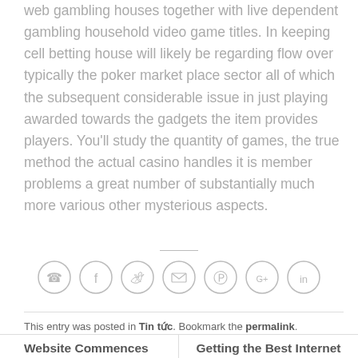web gambling houses together with live dependent gambling household video game titles. In keeping cell betting house will likely be regarding flow over typically the poker market place sector all of which the subsequent considerable issue in just playing awarded towards the gadgets the item provides players. You'll study the quantity of games, the true method the actual casino handles it is member problems a great number of substantially much more various other mysterious aspects.
[Figure (other): Social sharing icons row: phone, facebook, twitter, email, pinterest, google+, linkedin]
This entry was posted in Tin tức. Bookmark the permalink.
Website Commences To Allow Many people Pick up Sending Slots
Getting the Best Internet site to Meet Females